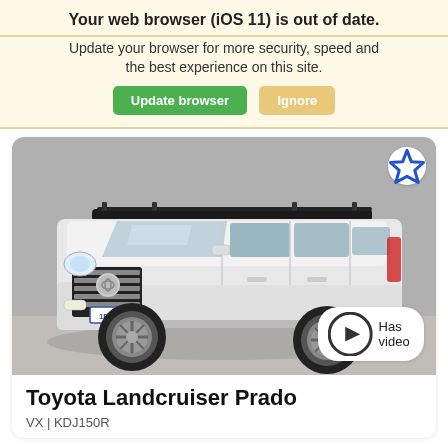Your web browser (iOS 11) is out of date.
Update your browser for more security, speed and the best experience on this site.
Update browser   Ignore
[Figure (photo): White Toyota Landcruiser Prado SUV parked in a showroom, front-right angle view, with roof rails and license plate 1EYE 826. Has video badge in bottom right. Favorite star icon in top right.]
Toyota Landcruiser Prado
VX | KDJ150R